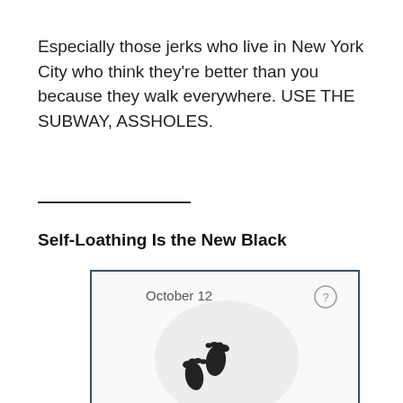Especially those jerks who live in New York City who think they're better than you because they walk everywhere. USE THE SUBWAY, ASSHOLES.
————————
Self-Loathing Is the New Black
[Figure (screenshot): Mobile app screenshot showing 'October 12' with a question mark circle button and footprint icons on a light circular background]